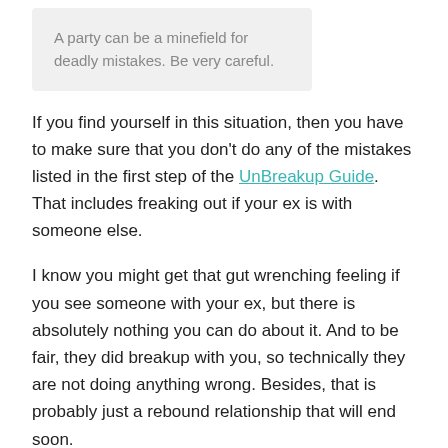A party can be a minefield for deadly mistakes. Be very careful.
If you find yourself in this situation, then you have to make sure that you don't do any of the mistakes listed in the first step of the UnBreakup Guide. That includes freaking out if your ex is with someone else.
I know you might get that gut wrenching feeling if you see someone with your ex, but there is absolutely nothing you can do about it. And to be fair, they did breakup with you, so technically they are not doing anything wrong. Besides, that is probably just a rebound relationship that will end soon.
#2 Have a Group to Hang Out With
The next step...